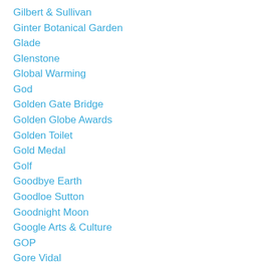Gilbert & Sullivan
Ginter Botanical Garden
Glade
Glenstone
Global Warming
God
Golden Gate Bridge
Golden Globe Awards
Golden Toilet
Gold Medal
Golf
Goodbye Earth
Goodloe Sutton
Goodnight Moon
Google Arts & Culture
GOP
Gore Vidal
Gossip
Governor Pence
Goya
Graffiti